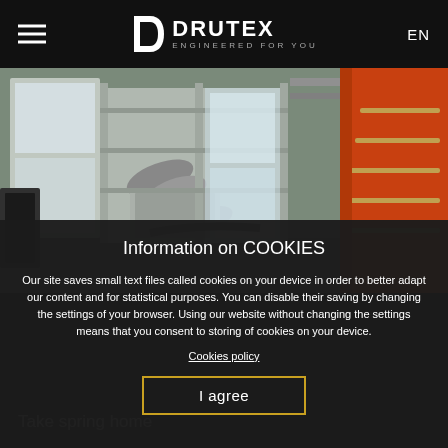DRUTEX ENGINEERED FOR YOU — EN
[Figure (photo): Industrial factory interior showing window/door manufacturing equipment including a large flexible hose/duct, metal scaffolding, glass panels, and orange machinery on the right side]
Information on COOKIES
Our site saves small text files called cookies on your device in order to better adapt our content and for statistical purposes. You can disable their saving by changing the settings of your browser. Using our website without changing the settings means that you consent to storing of cookies on your device.
Cookies policy
I agree
Take spring home